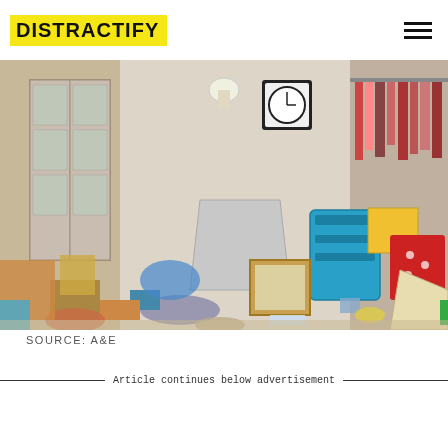DISTRACTIFY
[Figure (photo): A cluttered, messy room filled with piles of belongings including laundry baskets, lamps, boxes, bags, picture frames, and various items strewn across the floor. Clothes hang in the background. The room appears to be from a hoarding-related TV show on A&E.]
SOURCE: A&E
Article continues below advertisement